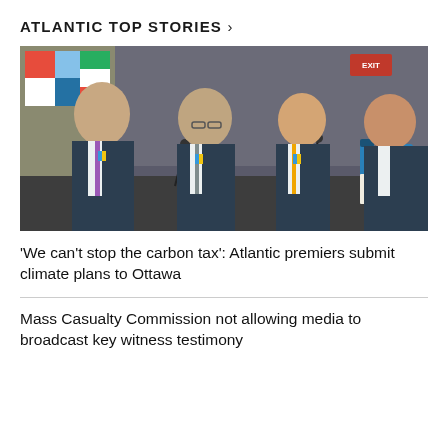ATLANTIC TOP STORIES >
[Figure (photo): Four men in dark suits seated at a table at a press conference, with Canadian provincial flags visible in the background and water bottles on the table.]
'We can't stop the carbon tax': Atlantic premiers submit climate plans to Ottawa
Mass Casualty Commission not allowing media to broadcast key witness testimony